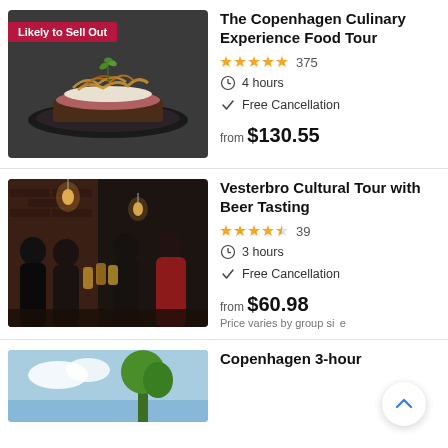[Figure (photo): Close-up photo of a smørrebrød (Danish open-faced sandwich) topped with crispy onions and fresh herbs on a dark plate, with a 'Likely to Sell Out' badge overlay]
The Copenhagen Culinary Experience Food Tour
★★★★★ 375
4 hours
Free Cancellation
from $130.55
[Figure (photo): Group of people toasting with beer glasses in a warm, dimly lit bar with exposed brick walls and Edison bulbs]
Vesterbro Cultural Tour with Beer Tasting
★★★★½ 39
3 hours
Free Cancellation
from $60.98
Price varies by group size
[Figure (photo): Partial view of an outdoor photo showing trees and sky, cropped at the bottom of the page]
Copenhagen 3-hour